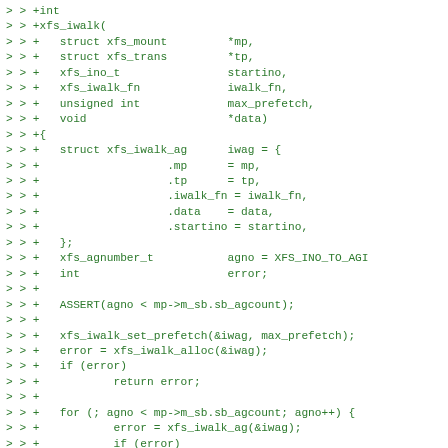[Figure (screenshot): Code diff snippet showing C function xfs_iwalk definition with green colored monospace text on white background, with diff markers >> +]